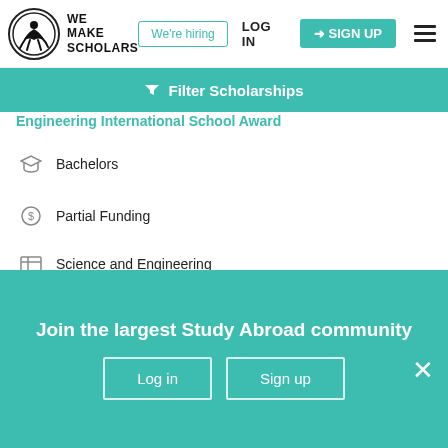[Figure (logo): We Make Scholars logo with circular emblem and person icon]
We're hiring
LOG IN
SIGN UP
Filter Scholarships
Engineering International School Award
Bachelors
Partial Funding
Science and Engineering
Open to all nationalities
Can be taken outside Canada
Shortlist
View & Apply
Join the largest Study Abroad community
Log in
Sign up